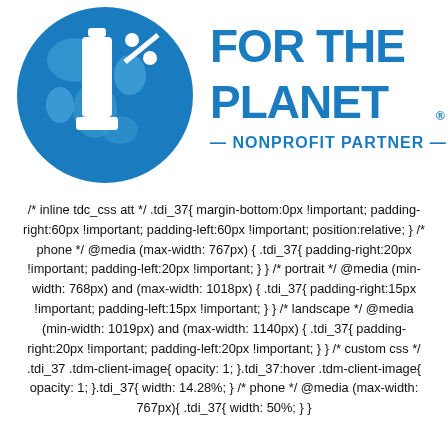[Figure (logo): 1% For the Planet Nonprofit Partner logo — circular blue globe with '1%' in white, and bold blue text 'FOR THE PLANET' with '— NONPROFIT PARTNER —' below]
/* inline tdc_css att */ .tdi_37{ margin-bottom:0px !important; padding-right:60px !important; padding-left:60px !important; position:relative; } /* phone */ @media (max-width: 767px) { .tdi_37{ padding-right:20px !important; padding-left:20px !important; } } /* portrait */ @media (min-width: 768px) and (max-width: 1018px) { .tdi_37{ padding-right:15px !important; padding-left:15px !important; } } /* landscape */ @media (min-width: 1019px) and (max-width: 1140px) { .tdi_37{ padding-right:20px !important; padding-left:20px !important; } } /* custom css */ .tdi_37 .tdm-client-image{ opacity: 1; }.tdi_37:hover .tdm-client-image{ opacity: 1; }.tdi_37{ width: 14.28%; } /* phone */ @media (max-width: 767px){ .tdi_37{ width: 50%; } }